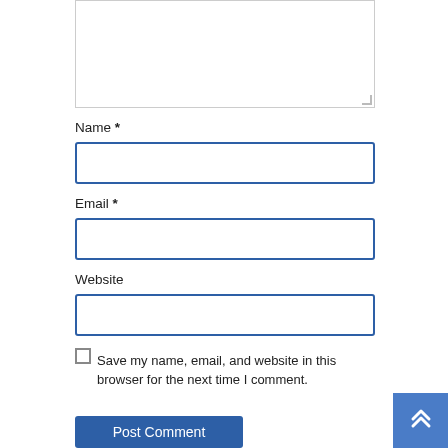[Figure (screenshot): Textarea input box (comment field) with resize handle in bottom-right corner]
Name *
[Figure (screenshot): Text input field for Name with blue border]
Email *
[Figure (screenshot): Text input field for Email with blue border]
Website
[Figure (screenshot): Text input field for Website with blue border]
Save my name, email, and website in this browser for the next time I comment.
Post Comment